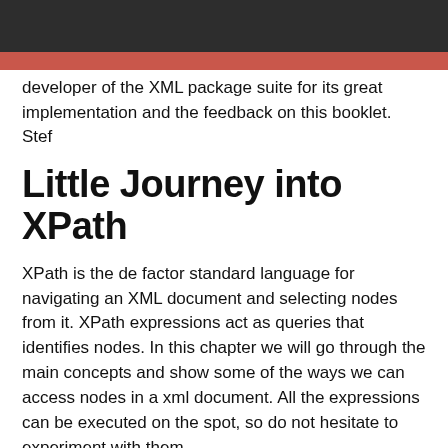developer of the XML package suite for its great implementation and the feedback on this booklet. Stef
Little Journey into XPath
XPath is the de factor standard language for navigating an XML document and selecting nodes from it. XPath expressions act as queries that identifies nodes. In this chapter we will go through the main concepts and show some of the ways we can access nodes in a xml document. All the expressions can be executed on the spot, so do not hesitate to experiment with them.
Getting started
You should load the XML parser and XPath library as follows: